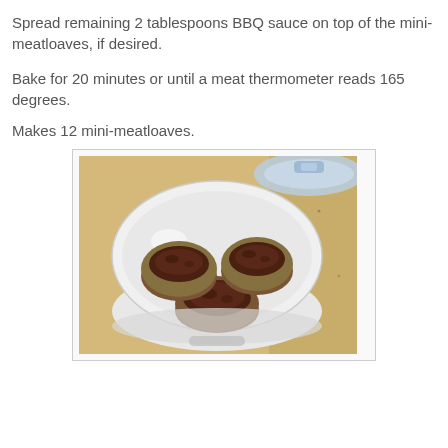Spread remaining 2 tablespoons BBQ sauce on top of the mini-meatloaves, if desired.
Bake for 20 minutes or until a meat thermometer reads 165 degrees.
Makes 12 mini-meatloaves.
[Figure (photo): Photo of three mini-meatloaves with BBQ sauce on top, placed in a round plastic container with a locking lid, sitting on a granite countertop.]